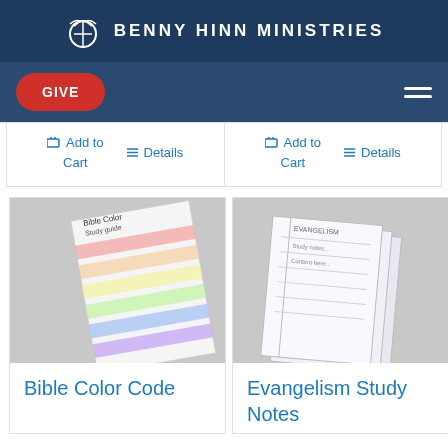BENNY HINN MINISTRIES
[Figure (screenshot): Navigation bar with red GIVE button and hamburger menu]
🛒 Add to Cart   ☰ Details
🛒 Add to Cart   ☰ Details
[Figure (photo): Bible Color Code product image showing colored note cards]
Bible Color Code
[Figure (photo): Evangelism Study Notes product image showing spiral notebook pages]
Evangelism Study Notes